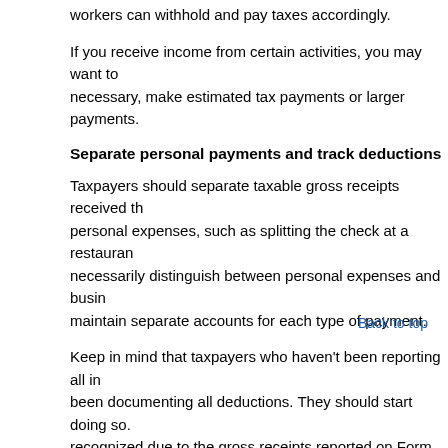workers can withhold and pay taxes accordingly.
If you receive income from certain activities, you may want to make estimated tax payments or larger payments.
Separate personal payments and track deductions
Taxpayers should separate taxable gross receipts received through personal expenses, such as splitting the check at a restaurant, necessarily distinguish between personal expenses and business expenses to maintain separate accounts for each type of payment.
Keep in mind that taxpayers who haven't been reporting all income haven't been documenting all deductions. They should start doing so. Income may be recognized due to the gross receipts reported on Form 1099-K. The IRS may take the position that all of a taxpayer's gross receipts reported on Form 1099-K are deductions unless the taxpayer substantiates deductions related to the taxpayer's work.
Contact us if you have questions about your Form 1099-K res
© 2022
Caring for an elderly relative? You may be eligible